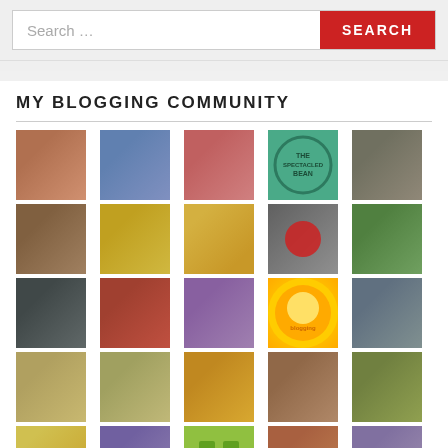[Figure (screenshot): Search bar with text input 'Search ...' and a red SEARCH button]
MY BLOGGING COMMUNITY
[Figure (photo): Grid of blogger avatar/profile photos, 5 columns, multiple rows showing various bloggers' profile pictures]